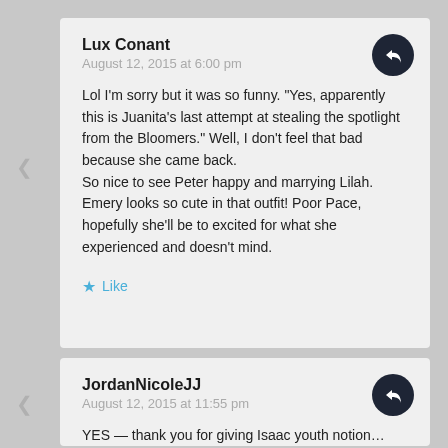Lux Conant
August 12, 2015 at 6:00 pm
Lol I'm sorry but it was so funny. "Yes, apparently this is Juanita's last attempt at stealing the spotlight from the Bloomers." Well, I don't feel that bad because she came back.
So nice to see Peter happy and marrying Lilah. Emery looks so cute in that outfit! Poor Pace, hopefully she'll be to excited for what she experienced and doesn't mind.
Like
JordanNicoleJJ
August 12, 2015 at 11:55 pm
YES — thank you for giving Isaac youth notion…